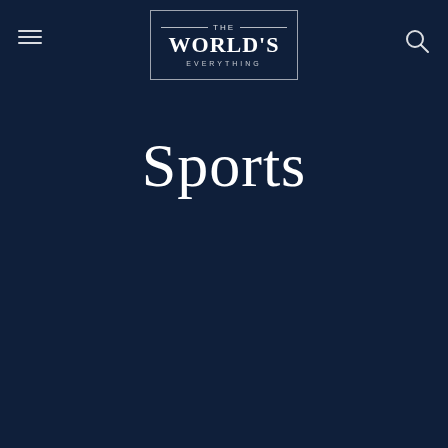[Figure (logo): The World's Everything logo in a rectangular border with decorative horizontal lines flanking 'THE', large bold 'WORLD'S' text, and 'EVERYTHING' in spaced small caps below]
[Figure (other): Hamburger menu icon (three horizontal lines) in top left]
[Figure (other): Search (magnifying glass) icon in top right]
Sports